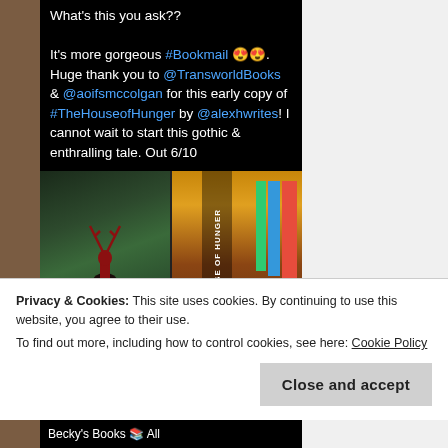[Figure (screenshot): Screenshot of a social media post on a black background. Text reads: What's this you ask?? It's more gorgeous #Bookmail 😍😍. Huge thank you to @TransworldBooks & @aoifsmccolgan for this early copy of #TheHouseofHunger by @alexhwrites! I cannot wait to start this gothic & enthralling tale. Out 6/10. Below the text are two book photos side by side - one showing a book with a deer/stag cover art, another showing books on a shelf.]
Privacy & Cookies: This site uses cookies. By continuing to use this website, you agree to their use. To find out more, including how to control cookies, see here: Cookie Policy
Close and accept
Becky's Books 📚 All